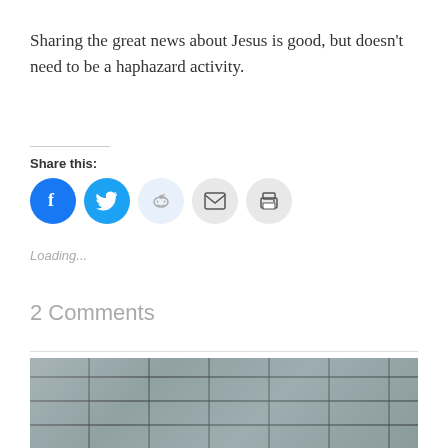Sharing the great news about Jesus is good, but doesn't need to be a haphazard activity.
Share this:
[Figure (other): Social share buttons: Facebook (blue circle), Twitter (blue circle), Reddit (light blue circle), Email (grey circle), Print (grey circle)]
Loading...
2 Comments
[Figure (photo): Stone wall texture photo at the bottom of the page]